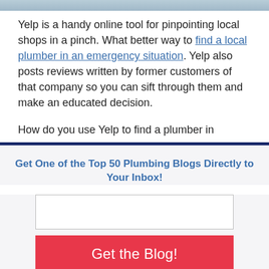[Figure (photo): Partial image visible at top of page, appears to be a photo of pipes or plumbing equipment]
Yelp is a handy online tool for pinpointing local shops in a pinch. What better way to find a local plumber in an emergency situation. Yelp also posts reviews written by former customers of that company so you can sift through them and make an educated decision.

How do you use Yelp to find a plumber in
Get One of the Top 50 Plumbing Blogs Directly to Your Inbox!
Get the Blog!